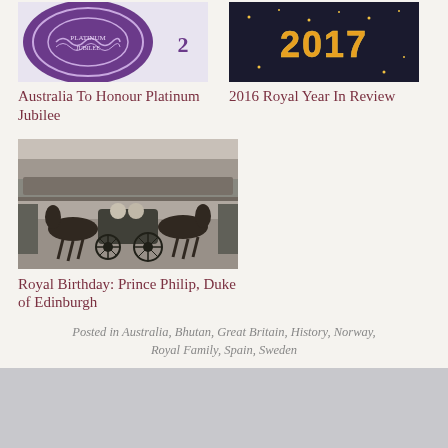[Figure (photo): Purple circular emblem/seal with decorative pattern, partially cropped at top, with '2' visible on the right side]
Australia To Honour Platinum Jubilee
[Figure (photo): Dark image showing '2017' text in large glowing letters with stars/lights, partially cropped at top]
2016 Royal Year In Review
[Figure (photo): Black and white historical photograph of a royal carriage procession with horses and crowds of people watching]
Royal Birthday: Prince Philip, Duke of Edinburgh
Posted in Australia, Bhutan, Great Britain, History, Norway, Royal Family, Spain, Sweden